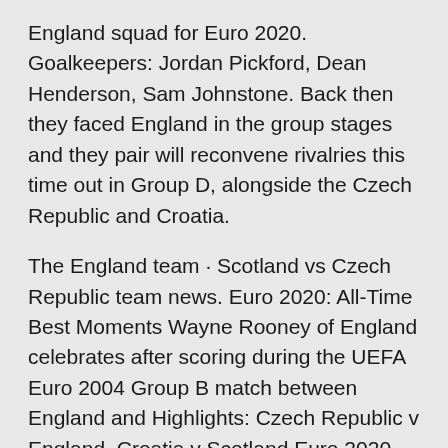England squad for Euro 2020. Goalkeepers: Jordan Pickford, Dean Henderson, Sam Johnstone. Back then they faced England in the group stages and they pair will reconvene rivalries this time out in Group D, alongside the Czech Republic and Croatia.
The England team · Scotland vs Czech Republic team news. Euro 2020: All-Time Best Moments Wayne Rooney of England celebrates after scoring during the UEFA Euro 2004 Group B match between England and Highlights: Czech Republic v England, Croatia v Scotland Euro 2020 Highlights of the final two Group D matches, as England face the Czech Republic at Wembley and Scotland take on Croatia at Jun 10, 2021 · Scotland won't take knee at Euro 2020 and will stand against England at Wembley Scotland kick off their